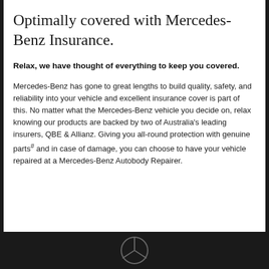Optimally covered with Mercedes-Benz Insurance.
Relax, we have thought of everything to keep you covered.
Mercedes-Benz has gone to great lengths to build quality, safety, and reliability into your vehicle and excellent insurance cover is part of this. No matter what the Mercedes-Benz vehicle you decide on, relax knowing our products are backed by two of Australia's leading insurers, QBE & Allianz. Giving you all-round protection with genuine parts# and in case of damage, you can choose to have your vehicle repaired at a Mercedes-Benz Autobody Repairer.
[Figure (photo): Dark bottom banner with partial Mercedes-Benz logo visible]